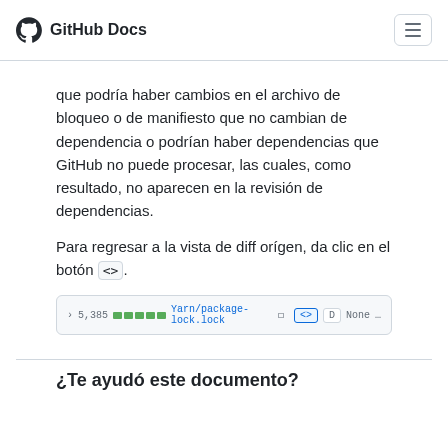GitHub Docs
que podría haber cambios en el archivo de bloqueo o de manifiesto que no cambian de dependencia o podrían haber dependencias que GitHub no puede procesar, las cuales, como resultado, no aparecen en la revisión de dependencias.
Para regresar a la vista de diff orígen, da clic en el botón <>.
[Figure (screenshot): Screenshot of a GitHub diff file header row showing chevron, line count '5,385', green bars, filename 'Yarn/package-lock.lock', and action buttons including a highlighted <> button, D button, and 'None' dropdown]
¿Te ayudó este documento?